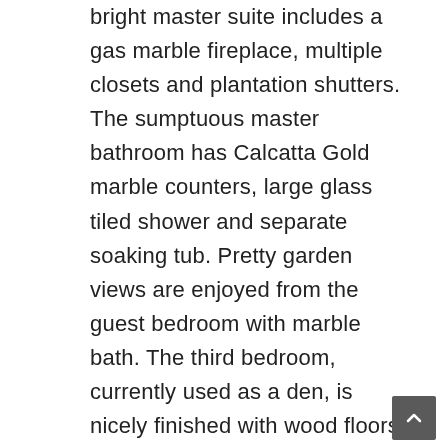bright master suite includes a gas marble fireplace, multiple closets and plantation shutters. The sumptuous master bathroom has Calcatta Gold marble counters, large glass tiled shower and separate soaking tub. Pretty garden views are enjoyed from the guest bedroom with marble bath. The third bedroom, currently used as a den, is nicely finished with wood floors and plantation shutters. The powder room has an attractive stone sink, contemporary fixtures and attractive wallpaper. Other features include in-unit laundry, radiant floor heating, security system and fire suppression